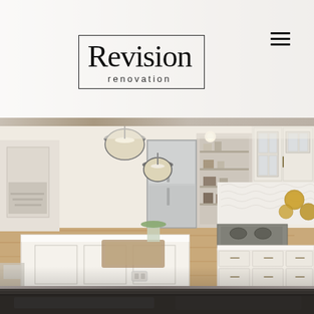[Figure (logo): Revision Renovation company logo in a rectangular border box, large serif 'Revision' with smaller tracking 'renovation' text below]
[Figure (photo): Interior kitchen renovation photo showing white cabinetry, kitchen island with white quartz countertop, pendant lights, stainless steel refrigerator, open shelving, wood floors, and gold decorative wall plates]
[Figure (photo): Partial view of dark countertop surface at bottom of frame]